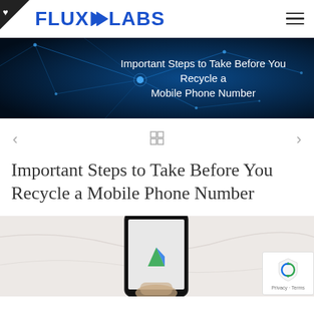FLUX LABS
[Figure (photo): Dark blue tech background with glowing network lines and nodes, with white text overlay reading 'Important Steps to Take Before You Recycle a Mobile Phone Number']
Important Steps to Take Before You Recycle a Mobile Phone Number
[Figure (photo): Hand holding a smartphone displaying the Google logo (green and blue 'G'), on a light marble surface]